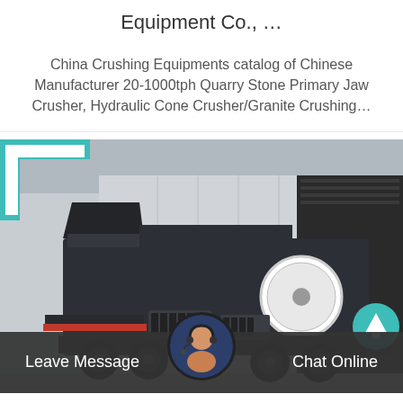Equipment Co., …
China Crushing Equipments catalog of Chinese Manufacturer 20-1000tph Quarry Stone Primary Jaw Crusher, Hydraulic Cone Crusher/Granite Crushing…
[Figure (photo): Mobile jaw crusher machine parked in front of a warehouse/factory building. Large industrial crushing equipment mounted on a trailer with a teal bracket corner overlay in top-left.]
Leave Message   Chat Online